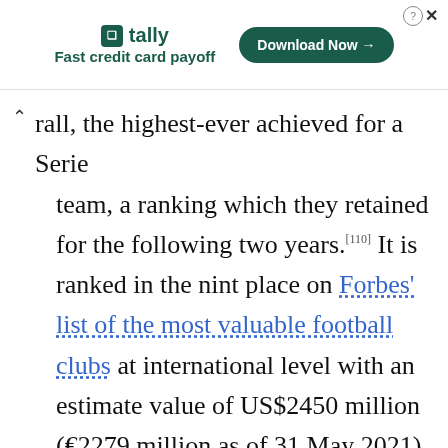[Figure (other): Advertisement banner for Tally app — 'Fast credit card payoff' with Download Now button]
rall, the highest-ever achieved for a Serie team, a ranking which they retained for the following two years.[110] It is ranked in the ninth place on Forbes' list of the most valuable football clubs at international level with an estimate value of US$2450 million (€2279 million as of 31 May 2021), and, in May 2016, it became the first football club in the country to cross the billion euro mark.[211]